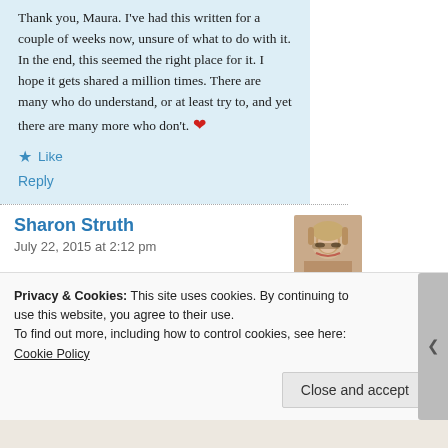Thank you, Maura. I've had this written for a couple of weeks now, unsure of what to do with it. In the end, this seemed the right place for it. I hope it gets shared a million times. There are many who do understand, or at least try to, and yet there are many more who don't. ❤
★ Like
Reply
Sharon Struth
July 22, 2015 at 2:12 pm
[Figure (photo): Profile photo of Sharon Struth — woman with short blonde hair and glasses]
Privacy & Cookies: This site uses cookies. By continuing to use this website, you agree to their use.
To find out more, including how to control cookies, see here: Cookie Policy
Close and accept